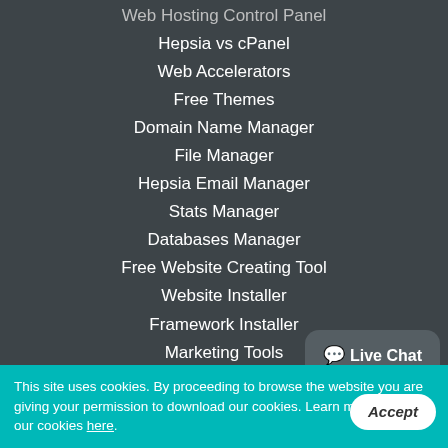Web Hosting Control Panel
Hepsia vs cPanel
Web Accelerators
Free Themes
Domain Name Manager
File Manager
Hepsia Email Manager
Stats Manager
Databases Manager
Free Website Creating Tool
Website Installer
Framework Installer
Marketing Tools
Advanced Tools
Support
Support
[Figure (other): Live Chat speech bubble button]
This site uses cookies. By proceeding to browse the website you are giving your permission to download our cookies. Learn more about our cookies here.